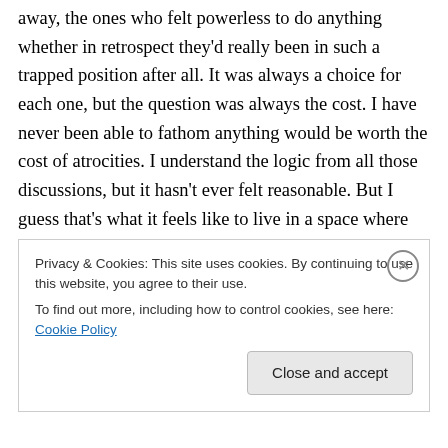away, the ones who felt powerless to do anything whether in retrospect they'd really been in such a trapped position after all. It was always a choice for each one, but the question was always the cost. I have never been able to fathom anything would be worth the cost of atrocities. I understand the logic from all those discussions, but it hasn't ever felt reasonable. But I guess that's what it feels like to live in a space where reason has been denied any place. I guess this is what it is to have lived most of my life never really having to directly face making those choices.
Privacy & Cookies: This site uses cookies. By continuing to use this website, you agree to their use.
To find out more, including how to control cookies, see here: Cookie Policy
Close and accept